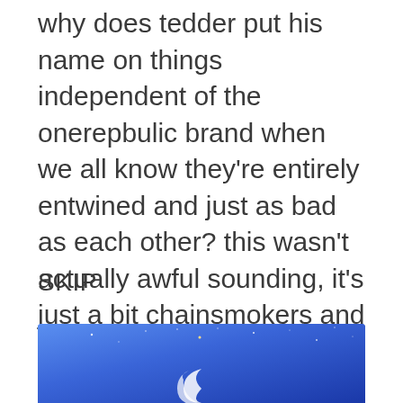why does tedder put his name on things independent of the onerepbulic brand when we all know they're entirely entwined and just as bad as each other? this wasn't actually awful sounding, it's just a bit chainsmokers and i just can't get over how disgustingly white it is, coming from me, the whitest boy alive.
SKIP
[Figure (illustration): Blue night sky illustration with stars and a crescent moon shape at the bottom, partially visible at the bottom of the page.]